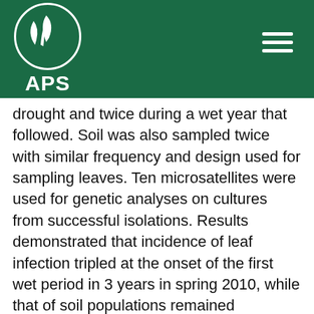[Figure (logo): APS logo: white plant/leaf icon inside a white circle on dark green background, with 'APS' text below the circle]
drought and twice during a wet year that followed. Soil was also sampled twice with similar frequency and design used for sampling leaves. Ten microsatellites were used for genetic analyses on cultures from successful isolations. Results demonstrated that incidence of leaf infection tripled at the onset of the first wet period in 3 years in spring 2010, while that of soil populations remained unchanged. Migration of genotypes among sites was low and spatially limited under dry periods but intensity and range of migration of genotypes significantly increased for leaf populations during wet periods. Only leaf genotypes persisted significantly between years, and genotypes present in different substrates distributed differently in soil and leaves. We